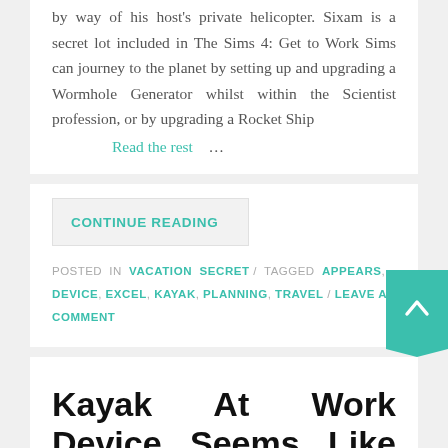by way of his host's private helicopter. Sixam is a secret lot included in The Sims 4: Get to Work Sims can journey to the planet by setting up and upgrading a Wormhole Generator whilst within the Scientist profession, or by upgrading a Rocket Ship
Read the rest ...
CONTINUE READING
POSTED IN VACATION SECRET / TAGGED APPEARS, DEVICE, EXCEL, KAYAK, PLANNING, TRAVEL / LEAVE A COMMENT
Kayak At Work Device Seems Like An Excel Doc For SEW